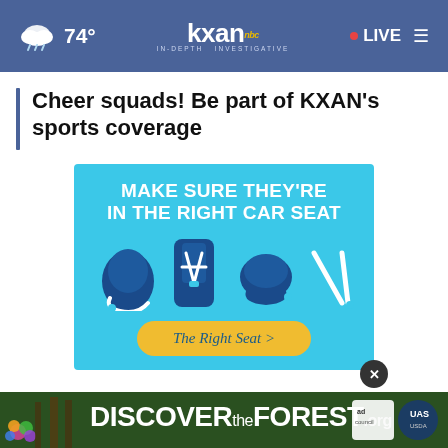74° | KXAN IN-DEPTH INVESTIGATIVE | LIVE
Cheer squads! Be part of KXAN's sports coverage
[Figure (infographic): Blue advertisement: MAKE SURE THEY'RE IN THE RIGHT CAR SEAT with car seat icons and a yellow button reading 'The Right Seat >']
[Figure (infographic): Bottom banner ad: DISCOVERtheFOREST.org with Ad Council and USDA Forest Service logos]